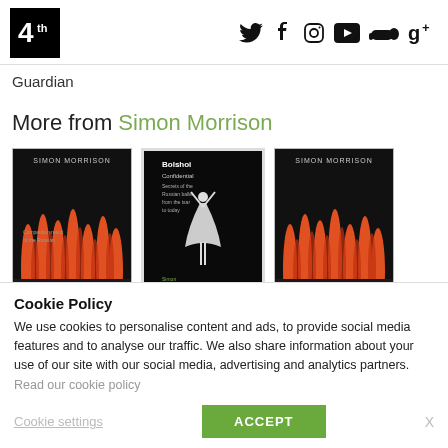4th estate logo and social media icons (Twitter, Facebook, Instagram, YouTube, SoundCloud, Google+)
Guardian
More from Simon Morrison
[Figure (photo): Three book covers by Simon Morrison: two Bolshoi-related books with orange flame designs on dark covers, and one Bolshoi Confidential book with a ballerina on a black cover]
Cookie Policy
We use cookies to personalise content and ads, to provide social media features and to analyse our traffic. We also share information about your use of our site with our social media, advertising and analytics partners. Read our cookie policy
Cookie settings   ACCEPT   X